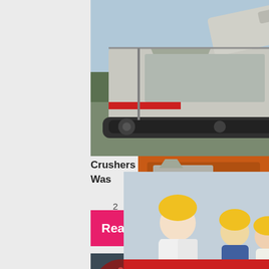Impact
[Figure (photo): Mobile crusher/screening machine on crawler tracks in an open field, industrial mining equipment]
Crushers Archives - Crushing, Sc
Was
2
[Figure (photo): LIVE CHAT popup overlay showing workers in yellow hard hats with text 'LIVE CHAT - Click for a Free Consultation']
Chat now
Chat later
Read More
[Figure (photo): Industrial ball mill machinery close-up showing perforated drum/cylinder]
[Figure (photo): Orange sidebar panel showing industrial crusher machine images]
Enjoy 3% discount
Click to Chat
Enquiry
limingjlmofen@sina.com